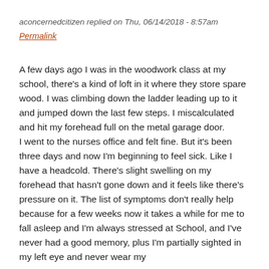aconcernedcitizen replied on Thu, 06/14/2018 - 8:57am
Permalink
A few days ago I was in the woodwork class at my school, there's a kind of loft in it where they store spare wood. I was climbing down the ladder leading up to it and jumped down the last few steps. I miscalculated and hit my forehead full on the metal garage door.
I went to the nurses office and felt fine. But it's been three days and now I'm beginning to feel sick. Like I have a headcold. There's slight swelling on my forehead that hasn't gone down and it feels like there's pressure on it. The list of symptoms don't really help because for a few weeks now it takes a while for me to fall asleep and I'm always stressed at School, and I've never had a good memory, plus I'm partially sighted in my left eye and never wear my